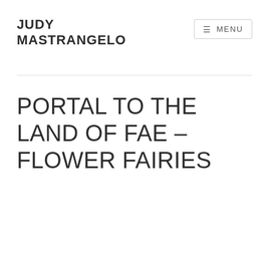JUDY MASTRANGELO
≡ MENU
PORTAL TO THE LAND OF FAE – FLOWER FAIRIES